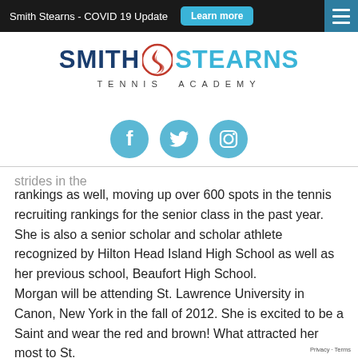Smith Stearns - COVID 19 Update   Learn more
[Figure (logo): Smith Stearns Tennis Academy logo with flame icon between SMITH and STEARNS text, and TENNIS ACADEMY subtitle below]
[Figure (infographic): Three social media icons (Facebook, Twitter, Instagram) as teal circles]
strides in the
rankings as well, moving up over 600 spots in the tennis recruiting rankings for the senior class in the past year. She is also a senior scholar and scholar athlete recognized by Hilton Head Island High School as well as her previous school, Beaufort High School.
Morgan will be attending St. Lawrence University in Canon, New York in the fall of 2012. She is excited to be a Saint and wear the red and brown! What attracted her most to St.